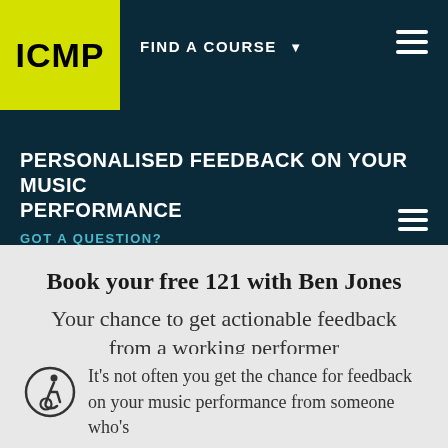[Figure (logo): ICMP logo — yellow/lime green square with black bold text 'ICMP']
FIND A COURSE ▼
PERSONALISED FEEDBACK ON YOUR MUSIC PERFORMANCE
GOT A QUESTION?
Book your free 121 with Ben Jones
Your chance to get actionable feedback from a working performer
It's not often you get the chance for feedback on your music performance from someone who's